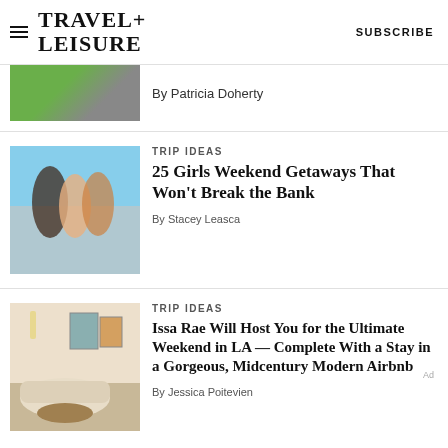TRAVEL+ LEISURE    SUBSCRIBE
By Patricia Doherty
TRIP IDEAS
25 Girls Weekend Getaways That Won't Break the Bank
By Stacey Leasca
TRIP IDEAS
Issa Rae Will Host You for the Ultimate Weekend in LA — Complete With a Stay in a Gorgeous, Midcentury Modern Airbnb
By Jessica Poitevien